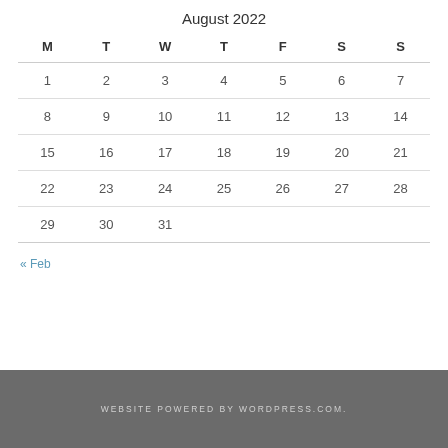August 2022
| M | T | W | T | F | S | S |
| --- | --- | --- | --- | --- | --- | --- |
| 1 | 2 | 3 | 4 | 5 | 6 | 7 |
| 8 | 9 | 10 | 11 | 12 | 13 | 14 |
| 15 | 16 | 17 | 18 | 19 | 20 | 21 |
| 22 | 23 | 24 | 25 | 26 | 27 | 28 |
| 29 | 30 | 31 |  |  |  |  |
« Feb
WEBSITE POWERED BY WORDPRESS.COM.